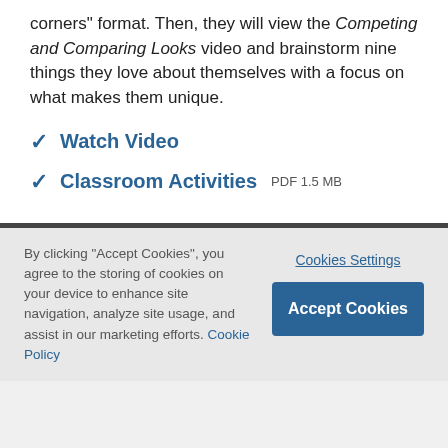corners" format. Then, they will view the Competing and Comparing Looks video and brainstorm nine things they love about themselves with a focus on what makes them unique.
Watch Video
Classroom Activities  PDF 1.5 MB
By clicking "Accept Cookies", you agree to the storing of cookies on your device to enhance site navigation, analyze site usage, and assist in our marketing efforts. Cookie Policy
Cookies Settings
Accept Cookies